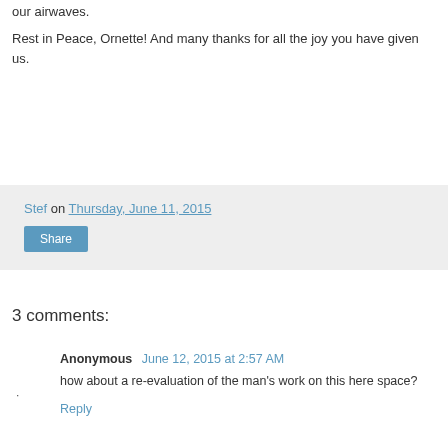our airwaves.
Rest in Peace, Ornette! And many thanks for all the joy you have given us.
Stef on Thursday, June 11, 2015
Share
3 comments:
Anonymous  June 12, 2015 at 2:57 AM
how about a re-evaluation of the man's work on this here space?
Reply